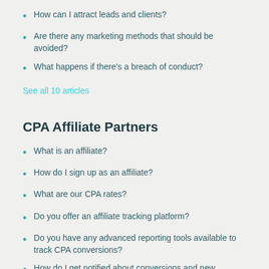How can I attract leads and clients?
Are there any marketing methods that should be avoided?
What happens if there's a breach of conduct?
See all 10 articles
CPA Affiliate Partners
What is an affiliate?
How do I sign up as an affiliate?
What are our CPA rates?
Do you offer an affiliate tracking platform?
Do you have any advanced reporting tools available to track CPA conversions?
How do I get notified about conversions and new referrals?